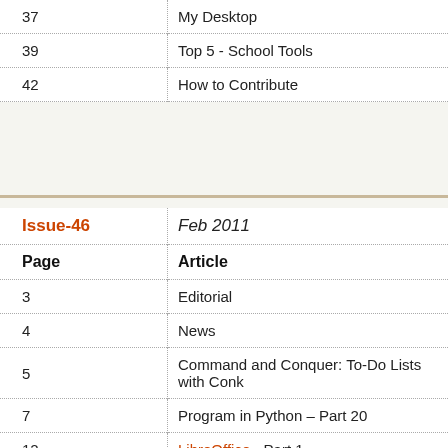| Page | Article |
| --- | --- |
| 37 | My Desktop |
| 39 | Top 5 - School Tools |
| 42 | How to Contribute |
| Issue-46 / Feb 2011 |  |
| --- | --- |
| Page | Article |
| 3 | Editorial |
| 4 | News |
| 5 | Command and Conquer: To-Do Lists with Conk |
| 7 | Program in Python – Part 20 |
| 12 | LibreOffice - Part 1 |
| 15 | Installing Mythbuntu 10.10 |
| 18 | My Opinion - ISP's |
| 19 | Write for Full Circle Magazine |
| 20 | Linux Lab - File Systems Part 1 - Home Advant |
| 20 | Review: KDE 4.5 |
| 22 | My Story |
| 24 | Review - Boxee Box |